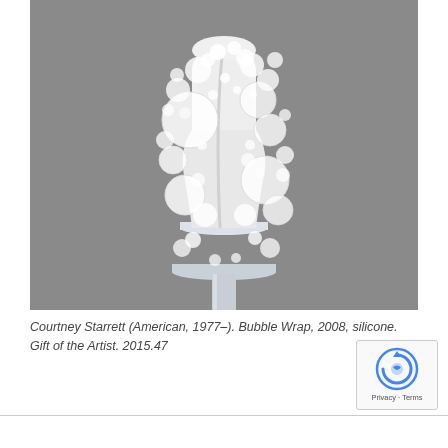[Figure (photo): A sculpture of a torso on a white pedestal/stand, covered with white translucent silicone bubbles of varying sizes resembling bubble wrap. The background is gray. The work is titled 'Bubble Wrap' by Courtney Starrett.]
Courtney Starrett (American, 1977–). Bubble Wrap, 2008, silicone. Gift of the Artist. 2015.47